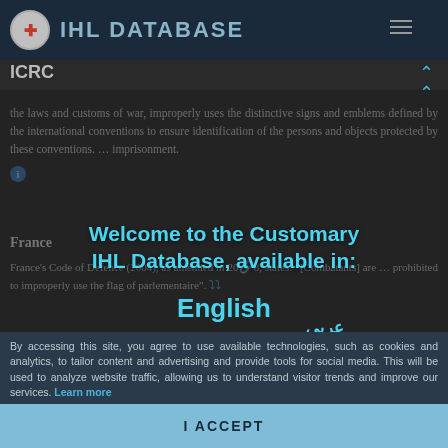IHL DATABASE — ICRC
the laws and customs of war, improperly uses the distinctive signs and emblems defined by the international conventions to ensure identification of the persons and objects protected by these conventions. … imprisonment.
France
France's Code of Defence (2004), as amended in 2018, states: "[Combatants] are ... prohibited to improperly use the flag of parlementaire".
[Figure (screenshot): Welcome to the Customary IHL Database modal overlay with language options: English, Arabic (عربي)]
By accessing this site, you agree to use available technologies, such as cookies and analytics, to tailor content and advertising and provide tools for social media. This will be used to analyze website traffic, allowing us to understand visitor trends and improve our services. Learn more
I ACCEPT